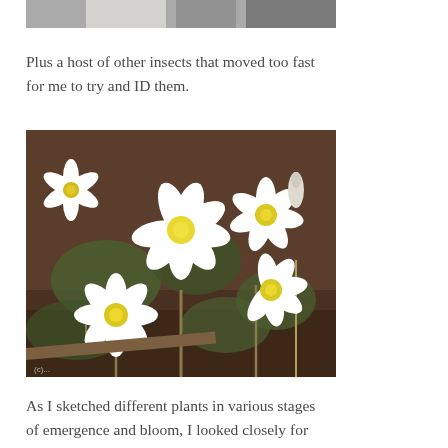[Figure (photo): Partial view of white flower(s) at top of page, cropped]
Plus a host of other insects that moved too fast for me to try and ID them.
[Figure (photo): Close-up photograph of multiple white bloodroot flowers (Sanguinaria canadensis) with yellow centers, in various stages of bloom, surrounded by green leaves and forest floor debris]
As I sketched different plants in various stages of emergence and bloom, I looked closely for